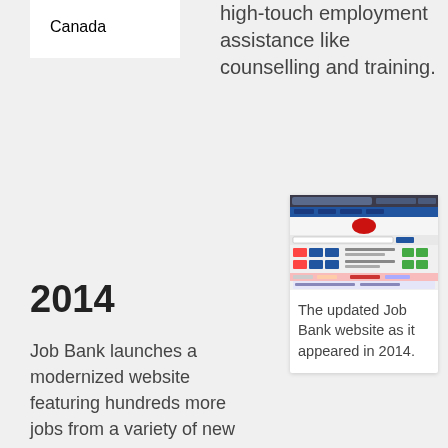Canada
high-touch employment assistance like counselling and training.
2014
Job Bank launches a modernized website featuring hundreds more jobs from a variety of new sources. The new website also
[Figure (screenshot): Screenshot of the updated Job Bank website as it appeared in 2014, showing the website interface with navigation menu, search fields, and job listings.]
The updated Job Bank website as it appeared in 2014.